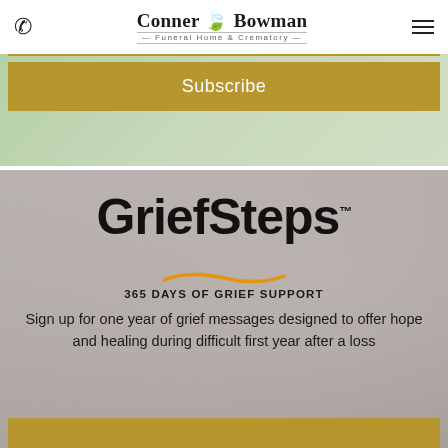Conner Bowman Funeral Home & Crematory
[Figure (screenshot): Subscribe button on a background with plant imagery, golden/amber colored button with white 'Subscribe' text]
[Figure (infographic): GriefSteps 365 Days of Grief Support section with blurred background photo of two people embracing]
GriefSteps™
365 DAYS OF GRIEF SUPPORT
Sign up for one year of grief messages designed to offer hope and healing during difficult first year after a loss
Email address